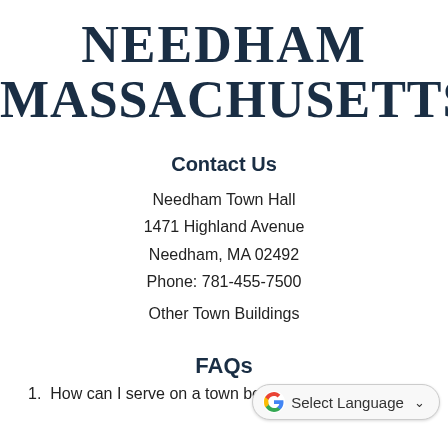NEEDHAM MASSACHUSETTS
Contact Us
Needham Town Hall
1471 Highland Avenue
Needham, MA 02492
Phone: 781-455-7500
Other Town Buildings
FAQs
[Figure (other): Google Translate widget showing 'Select Language' with dropdown arrow]
1. How can I serve on a town board or commission?